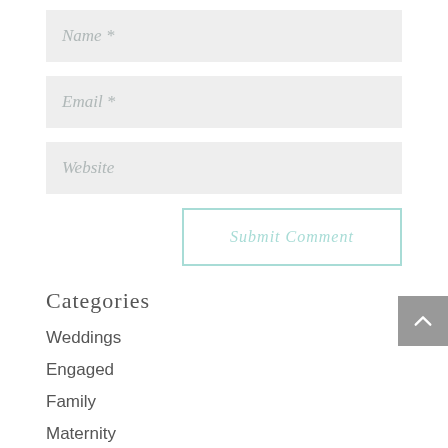Name *
Email *
Website
Submit Comment
Categories
Weddings
Engaged
Family
Maternity